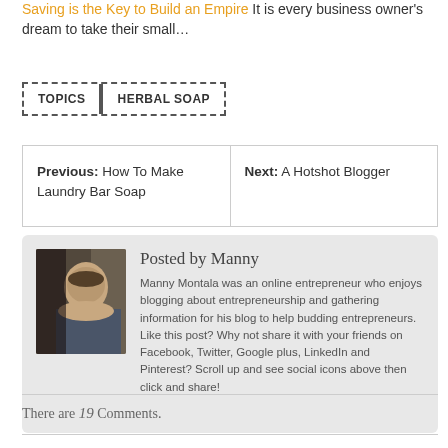Saving is the Key to Build an Empire It is every business owner's dream to take their small…
TOPICS   HERBAL SOAP
Previous: How To Make Laundry Bar Soap
Next: A Hotshot Blogger
Posted by Manny
Manny Montala was an online entrepreneur who enjoys blogging about entrepreneurship and gathering information for his blog to help budding entrepreneurs. Like this post? Why not share it with your friends on Facebook, Twitter, Google plus, LinkedIn and Pinterest? Scroll up and see social icons above then click and share!
[Figure (photo): Profile photo of Manny Montala, a man photographed indoors]
There are 19 Comments.